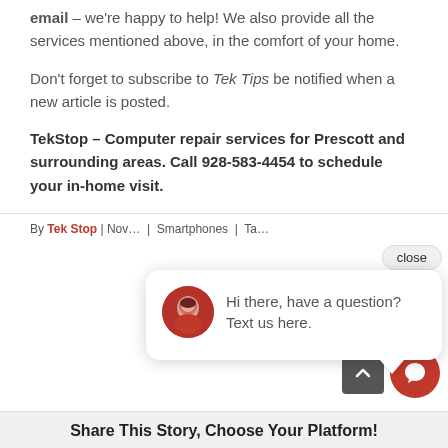email – we're happy to help! We also provide all the services mentioned above, in the comfort of your home.
Don't forget to subscribe to Tek Tips be notified when a new article is posted.
TekStop – Computer repair services for Prescott and surrounding areas. Call 928-583-4454 to schedule your in-home visit.
By Tek Stop | Nov… Smartphones | Ta…
[Figure (screenshot): Chat popup overlay with avatar photo of woman, text 'Hi there, have a question? Text us here.' and close button]
Share This Story, Choose Your Platform!